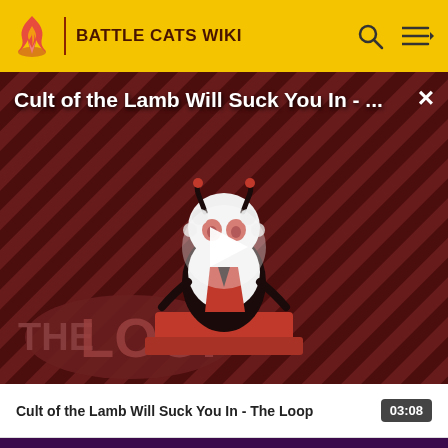BATTLE CATS WIKI
[Figure (screenshot): Video thumbnail showing 'Cult of the Lamb Will Suck You In - ...' with a cartoon lamb character on a striped red/dark background with 'THE LOOP' text overlay and a play button in the center]
Cult of the Lamb Will Suck You In - The Loop
03:08
OVERVIEW
What is Fandom?
Terms of Use
About
Privacy Policy